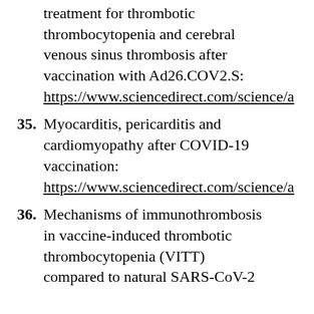treatment for thrombotic thrombocytopenia and cerebral venous sinus thrombosis after vaccination with Ad26.COV2.S: https://www.sciencedirect.com/science/a
35. Myocarditis, pericarditis and cardiomyopathy after COVID-19 vaccination: https://www.sciencedirect.com/science/a
36. Mechanisms of immunothrombosis in vaccine-induced thrombotic thrombocytopenia (VITT) compared to natural SARS-CoV-2